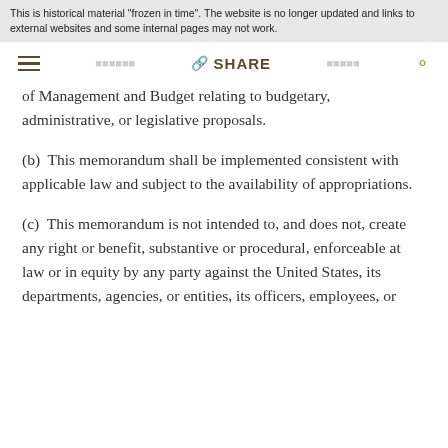This is historical material "frozen in time". The website is no longer updated and links to external websites and some internal pages may not work.
of Management and Budget relating to budgetary, administrative, or legislative proposals.
(b)  This memorandum shall be implemented consistent with applicable law and subject to the availability of appropriations.
(c)  This memorandum is not intended to, and does not, create any right or benefit, substantive or procedural, enforceable at law or in equity by any party against the United States, its departments, agencies, or entities, its officers, employees, or